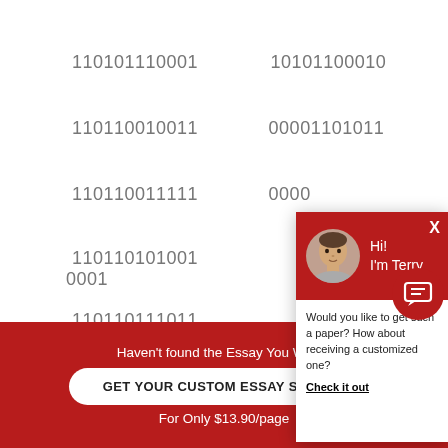110101110001   10101100010
110110010011   00001101011
110110011111   0000[obscured by popup]
110110101001   0001[obscured by popup]
110110111011   0010[obscured by popup]
110110111101   0000[obscured by popup]
110111001001   0010[obscured by popup]
[Figure (screenshot): Chat popup with red header showing avatar of a man and greeting 'Hi! I'm Terry', body text 'Would you like to get such a paper? How about receiving a customized one? Check it out', with X close button and chat bubble icon]
Haven't found the Essay You Want?
GET YOUR CUSTOM ESSAY SAMPLE
For Only $13.90/page